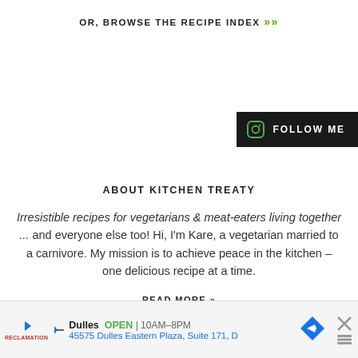OR, BROWSE THE RECIPE INDEX »
[Figure (other): Instagram Follow Me button bar on right side]
ABOUT KITCHEN TREATY
Irresistible recipes for vegetarians & meat-eaters living together ... and everyone else too! Hi, I'm Kare, a vegetarian married to a carnivore. My mission is to achieve peace in the kitchen – one delicious recipe at a time.
READ MORE »
[Figure (other): Advertisement banner: Dulles OPEN 10AM-8PM, 45575 Dulles Eastern Plaza, Suite 171, D]